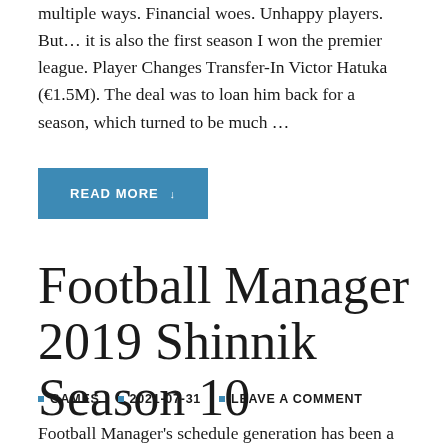multiple ways. Financial woes. Unhappy players. But… it is also the first season I won the premier league. Player Changes Transfer-In Victor Hatuka (€1.5M). The deal was to loan him back for a season, which turned to be much …
READ MORE ↓
Football Manager 2019 Shinnik Season 10
GAMES   2021-07-31   LEAVE A COMMENT
Football Manager's schedule generation has been a bit weird: the teams with European competitions often have lots of matches rearranged to make way for the European games. It is not uncommon that a team with European…